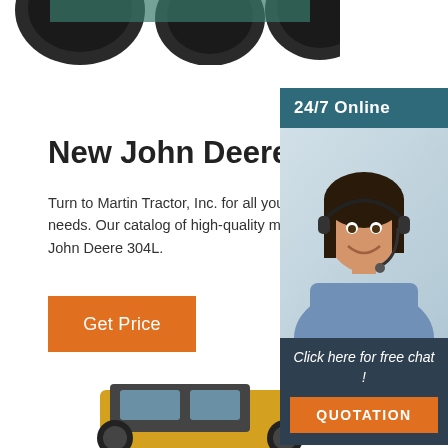[Figure (photo): Top portion of tractor tires/wheels visible at the top of the page]
[Figure (photo): 24/7 Online chat widget sidebar with a photo of a smiling woman wearing a headset, dark blue background, with 'Click here for free chat!' text and an orange QUOTATION button]
New John Deere 304L
Turn to Martin Tractor, Inc. for all your capital equipment needs. Our catalog of high-quality machinery includes the John Deere 304L.
[Figure (photo): Get Price orange button]
[Figure (photo): Bottom portion of heavy machinery/tractor visible at the bottom of the page]